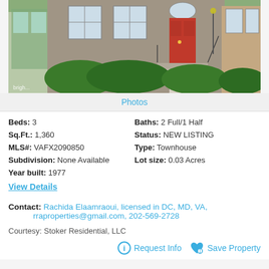[Figure (photo): Exterior photo of a 3-bedroom townhouse with brick/stone facade, red front door, shrubs, and stone steps. Bright MLS watermark in lower left corner.]
Photos
Beds: 3
Baths: 2 Full/1 Half
Sq.Ft.: 1,360
Status: NEW LISTING
MLS#: VAFX2090850
Type: Townhouse
Subdivision: None Available
Lot size: 0.03 Acres
Year built: 1977
View Details
Contact: Rachida Elaamraoui, licensed in DC, MD, VA, rraproperties@gmail.com, 202-569-2728
Courtesy: Stoker Residential, LLC
Request Info
Save Property